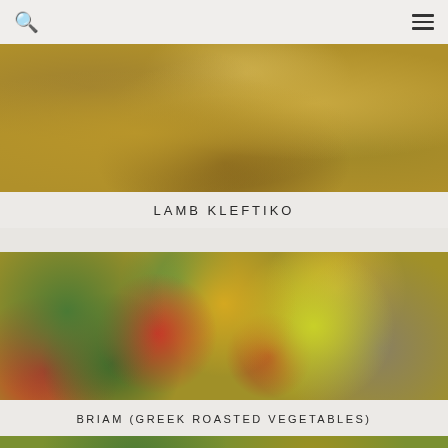[Figure (screenshot): Mobile app top navigation bar with search icon on left and hamburger menu icon on right]
[Figure (photo): Close-up photo of Lamb Kleftiko dish showing braised lamb with potatoes and onions in golden sauce]
LAMB KLEFTIKO
[Figure (photo): Close-up photo of Briam (Greek roasted vegetables) showing colorful diced vegetables including zucchini, tomatoes, potatoes, and peppers]
BRIAM (GREEK ROASTED VEGETABLES)
[Figure (photo): Partially visible third food photo at bottom of page]